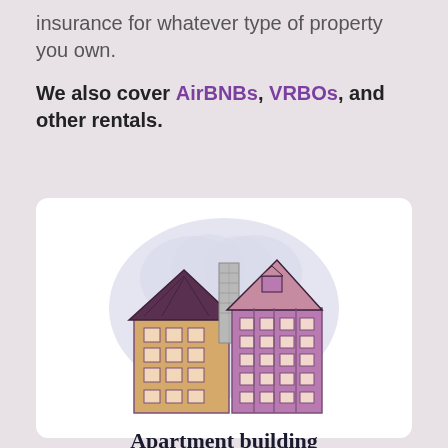insurance for whatever type of property you own.
We also cover AirBNBs, VRBOs, and other rentals.
[Figure (illustration): Illustrated apartment building with two connected structures, a chimney, windows, and a blue cloud-like background circle behind the building.]
Apartment building